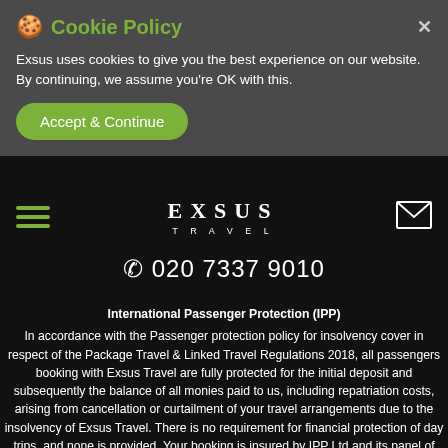Cookie Policy
Exsus uses cookies to give you the best experience on our website. By continuing, we assume you’re OK with this.
Accept & Continue
[Figure (logo): EXSUS TRAVEL logo with hamburger menu icon and mail envelope icon]
☎ 020 7337 9010
International Passenger Protection (IPP)
In accordance with the Passenger protection policy for insolvency cover in respect of the Package Travel & Linked Travel Regulations 2018, all passengers booking with Exsus Travel are fully protected for the initial deposit and subsequently the balance of all monies paid to us, including repatriation costs, arising from cancellation or curtailment of your travel arrangements due to the insolvency of Exsus Travel. There is no requirement for financial protection of day trips, and none is provided. Your booking is insured by IPP Ltd and its panel of insurers. This insurance is only valid for passengers who book and pay directly with Exsus Travel. If you have booked and/or paid direct to a Travel Agent for a holiday with Exsus Travel please request proof of how the booking is secured as this will not be covered by IPP Ltd in this instance.